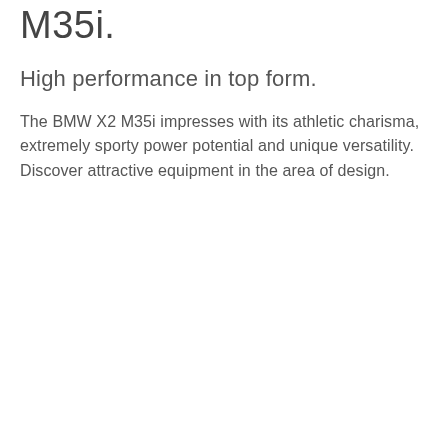M35i.
High performance in top form.
The BMW X2 M35i impresses with its athletic charisma, extremely sporty power potential and unique versatility. Discover attractive equipment in the area of design.